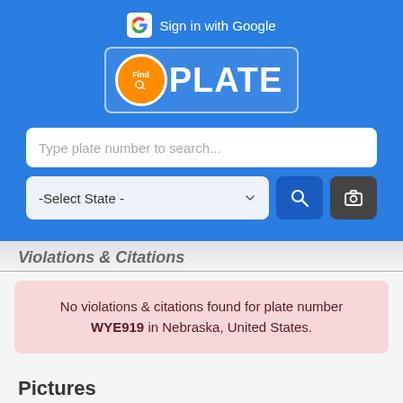[Figure (screenshot): FindPlate app header with blue background showing Google sign-in button, FindPlate logo, plate number search box, and state selector with search and camera buttons]
Violations & Citations
No violations & citations found for plate number WYE919 in Nebraska, United States.
Pictures